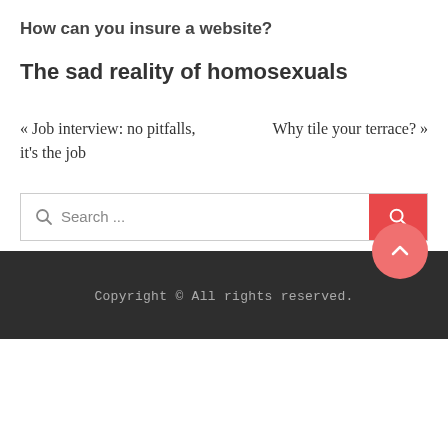How can you insure a website?
The sad reality of homosexuals
« Job interview: no pitfalls, it's the job
Why tile your terrace? »
Search ...
Copyright © All rights reserved.